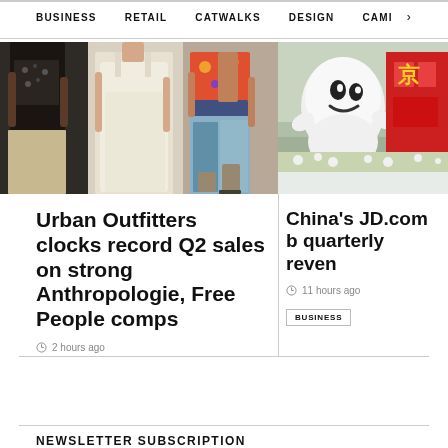BUSINESS  RETAIL  CATWALKS  DESIGN  CAMI  >
[Figure (photo): Three women walking outdoors in summer fashion outfits — crop tops, white dress, colorful pants]
Urban Outfitters clocks record Q2 sales on strong Anthropologie, Free People comps
2 hours ago
BUSINESS
[Figure (photo): Large white JD.com mascot figure outside a building with red Chinese characters]
China's JD.com b quarterly reven
11 hours ago
BUSINESS
NEWSLETTER SUBSCRIPTION